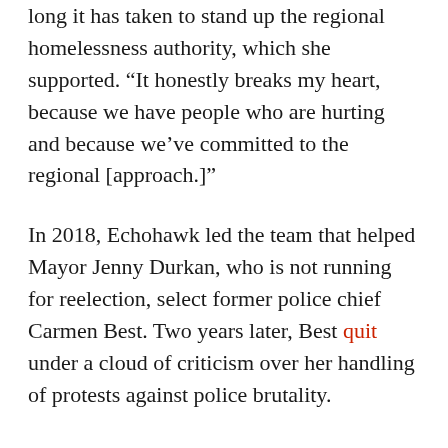long it has taken to stand up the regional homelessness authority, which she supported. “It honestly breaks my heart, because we have people who are hurting and because we’ve committed to the regional [approach.]”
In 2018, Echohawk led the team that helped Mayor Jenny Durkan, who is not running for reelection, select former police chief Carmen Best. Two years later, Best quit under a cloud of criticism over her handling of protests against police brutality.
Asked whether she supports the movement to defund the Seattle police and reinvest their budget in community-led public safety alternatives, Echohawk, who serves on the Community Police Commission, said “I do—I think that’s … what…